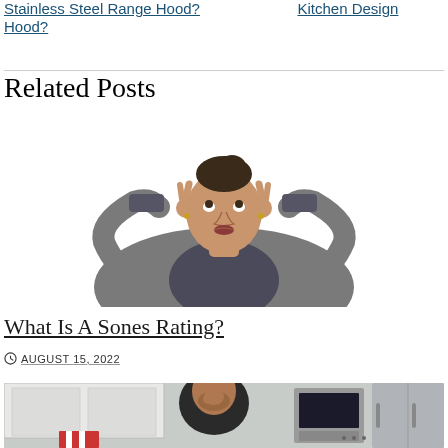Stainless Steel Range Hood? / Kitchen Design
Related Posts
[Figure (photo): Woman in grey blazer plugging her ears with her index fingers, looking upward, on white background]
What Is A Sones Rating?
AUGUST 15, 2022
[Figure (photo): Man in black t-shirt pinching his nose with fingers, standing in a kitchen with white cabinets, microwave, and refrigerator visible]